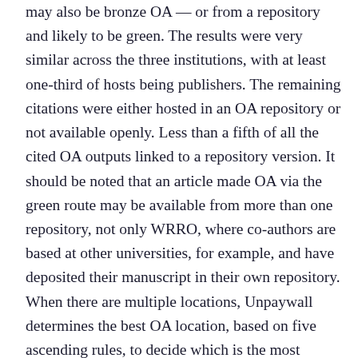may also be bronze OA — or from a repository and likely to be green. The results were very similar across the three institutions, with at least one-third of hosts being publishers. The remaining citations were either hosted in an OA repository or not available openly. Less than a fifth of all the cited OA outputs linked to a repository version. It should be noted that an article made OA via the green route may be available from more than one repository, not only WRRO, where co-authors are based at other universities, for example, and have deposited their manuscript in their own repository. When there are multiple locations, Unpaywall determines the best OA location, based on five ascending rules, to decide which is the most current, authoritative version.29